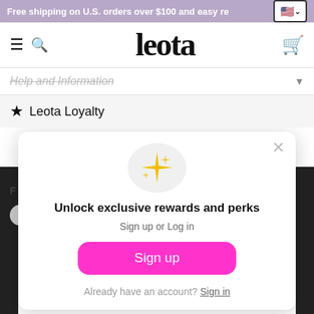Free shipping on U.S. orders over $100 and easy re
[Figure (logo): Leota brand logo in serif font]
Help and Information
★ Leota Loyalty
[Figure (screenshot): Loyalty rewards popup modal with sparkle icon, 'Unlock exclusive rewards and perks', Sign up or Log in text, Sign up button, and Already have an account? Sign in link]